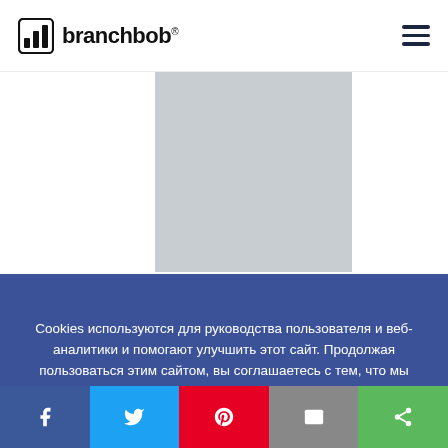branchbob®
[Figure (photo): Gray placeholder image rectangle]
Cookies используются для руководства пользователя и веб-аналитики и помогают улучшить этот сайт. Продолжая пользоваться этим сайтом, вы соглашаетесь с тем, что мы Политика использования файлов cookie.
[Figure (infographic): Social share bar with Facebook, Twitter, Pinterest, Email, and Share buttons]